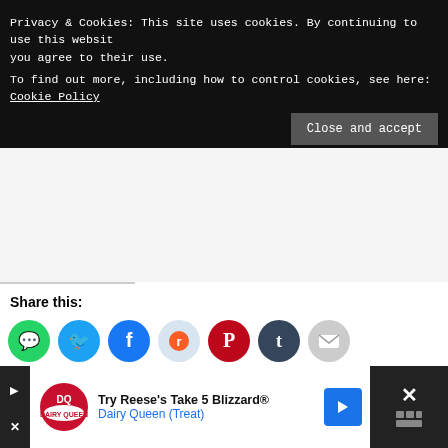Privacy & Cookies: This site uses cookies. By continuing to use this website, you agree to their use.
To find out more, including how to control cookies, see here: Cookie Policy
Close and accept
Share this:
[Figure (infographic): Row of social sharing icon buttons: WhatsApp (green), Twitter (blue), Facebook (dark blue), Reddit (light blue/gray), Pinterest (red), Tumblr (dark navy), Email (light gray)]
[Figure (infographic): Dairy Queen advertisement banner: 'Try Reese's Take 5 Blizzard® - Dairy Queen (Treat)' with DQ logo and blue arrow button, close X button]